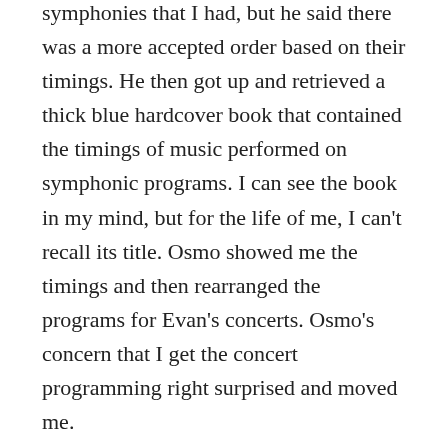symphonies that I had, but he said there was a more accepted order based on their timings. He then got up and retrieved a thick blue hardcover book that contained the timings of music performed on symphonic programs. I can see the book in my mind, but for the life of me, I can't recall its title. Osmo showed me the timings and then rearranged the programs for Evan's concerts. Osmo's concern that I get the concert programming right surprised and moved me.
When I stood to leave, I had one last question, an important question for any interviewer to ask. Could I follow up with him if I had any additional questions? He nodded with a smile and said that I should work through his Executive Assistant, email him with any additional questions. As I left his office, I found